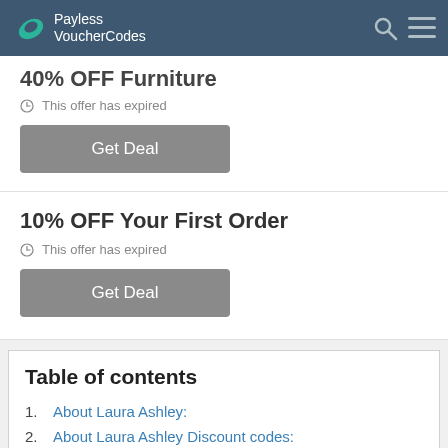Payless VoucherCodes
40% OFF Furniture
This offer has expired
Get Deal
10% OFF Your First Order
This offer has expired
Get Deal
Table of contents
1. About Laura Ashley:
2. About Laura Ashley Discount codes:
2.1. Are there many active Laura Ashley fashion…